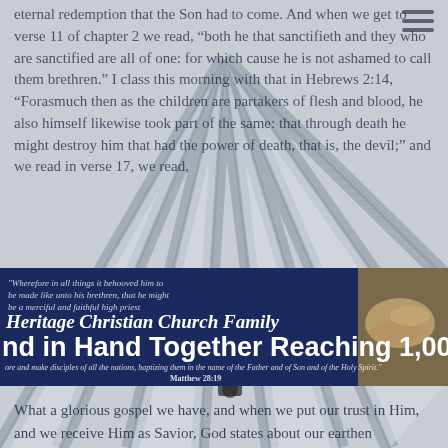[Figure (photo): Interior view of a church building with arched metal roof trusses radiating outward. The ceiling shows structural beams of a large tent or gymnasium-style church space.]
eternal redemption that the Son had to come. And when we get to verse 11 of chapter 2 we read, "both he that sanctifieth and they who are sanctified are all of one: for which cause he is not ashamed to call them brethren." I class this morning with that in Hebrews 2:14, "Forasmuch then as the children are partakers of flesh and blood, he also himself likewise took part of the same: that through death he might destroy him that had the power of death, that is, the devil;" and we read in verse 17, we read, "Wherefore in all things it behooved him to be made like unto his brethren, that he might be a merciful and faithful high priest in things pertaining to God, to make reconciliation for the sins of the people."
[Figure (photo): Banner sign for Heritage Christian Church Family reading 'Hand in Hand Together Reaching 1,000' with a photo of hands stacked together on the right side.]
"Heritage Christian Church Family"
Hand in Hand Together Reaching 1,000
"Go and make disciples of all the nations, baptizing them in the name of the Father and of Son and of the Holy Spirit." Matthew 28:19
What a glorious gospel we have, and when we put our trust in Him, and we receive Him as Savior, God states about our earthen